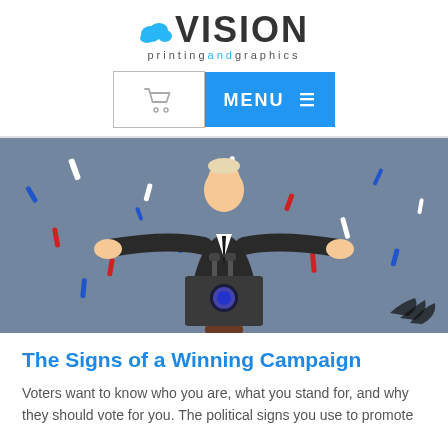[Figure (logo): Vision Printing and Graphics logo with blue cloud icon and stylized brand name]
[Figure (screenshot): Navigation bar with shopping cart icon button and blue MENU button with hamburger icon]
[Figure (illustration): Illustration of a politician at a podium with arms outstretched, confetti falling in red, white, and blue colors against a gray-blue background]
The Signs of a Winning Campaign
Voters want to know who you are, what you stand for, and why they should vote for you. The political signs you use to promote